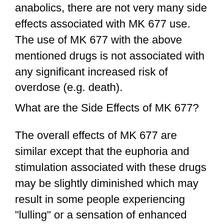anabolics, there are not very many side effects associated with MK 677 use. The use of MK 677 with the above mentioned drugs is not associated with any significant increased risk of overdose (e.g. death).
What are the Side Effects of MK 677?
The overall effects of MK 677 are similar except that the euphoria and stimulation associated with these drugs may be slightly diminished which may result in some people experiencing "lulling" or a sensation of enhanced "focus" upon taking the drugs, although this is not a significant risk, 677 mk vs cardarine.
MK 677 use may be associated with increased risk of seizures (especially a potentially serious form of severe